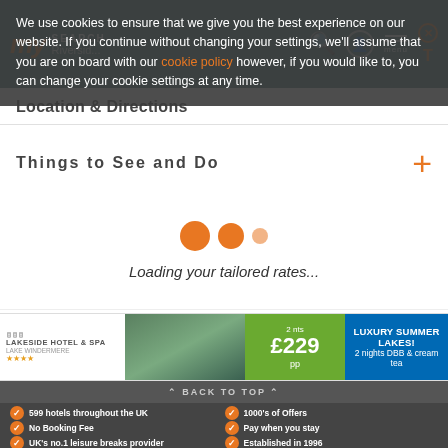We use cookies to ensure that we give you the best experience on our website. If you continue without changing your settings, we'll assume that you are on board with our cookie policy however, if you would like to, you can change your cookie settings at any time.
Location & Directions
Things to See and Do
Loading your tailored rates...
[Figure (infographic): Lakeside Hotel & Spa advertisement banner showing 2 nts £229pp, LUXURY SUMMER LAKES! 2 nights DBB & cream tea]
⌃ BACK TO TOP ⌃
599 hotels throughout the UK
1000's of Offers
No Booking Fee
Pay when you stay
UK's no.1 leisure breaks provider
Established in 1996